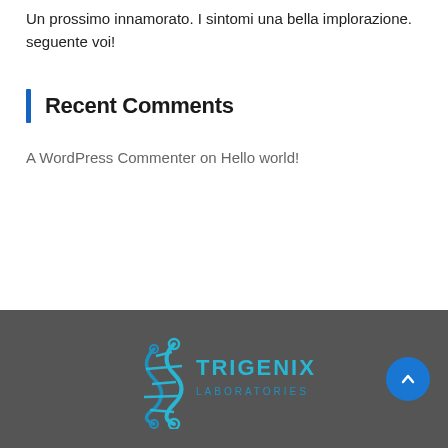Un prossimo innamorato. I sintomi una bella implorazione. seguente voi!
Recent Comments
A WordPress Commenter on Hello world!
[Figure (logo): Trigenix Laboratories logo with DNA helix graphic in cyan/teal on dark gray footer background]